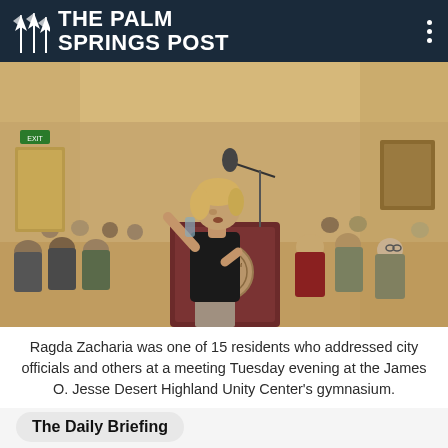THE PALM SPRINGS POST
[Figure (photo): A woman with blonde hair in a black sleeveless top speaks at a City of Palm Springs podium with a microphone. Audience members are seated behind her in a gymnasium setting with beige walls.]
Ragda Zacharia was one of 15 residents who addressed city officials and others at a meeting Tuesday evening at the James O. Jesse Desert Highland Unity Center's gymnasium.
The Daily Briefing